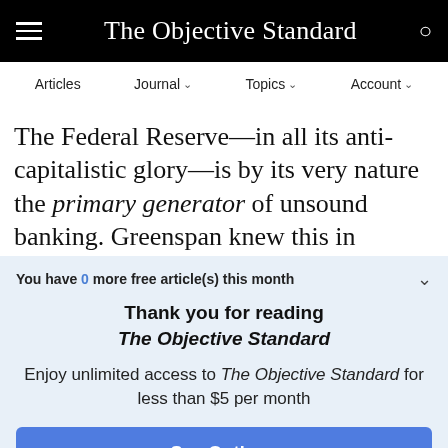The Objective Standard
Articles  Journal  Topics  Account
The Federal Reserve—in all its anti-capitalistic glory—is by its very nature the primary generator of unsound banking. Greenspan knew this in
You have 0 more free article(s) this month
Thank you for reading The Objective Standard
Enjoy unlimited access to The Objective Standard for less than $5 per month
See Options
Already a subscriber? Log in